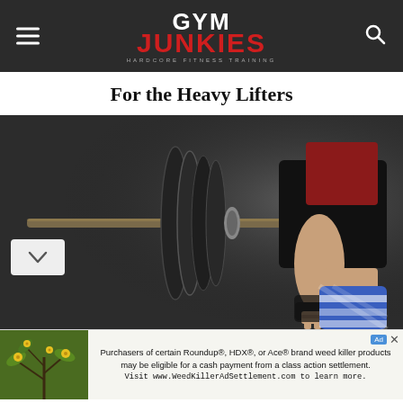GYM JUNKIES — HARDCORE FITNESS TRAINING
For the Heavy Lifters
[Figure (photo): A weightlifter gripping a heavily loaded barbell with large black weight plates. The lifter wears black shorts and a red top, with blue and white knee wraps on the right knee and black gloves/wrist wraps on the hand. Dark moody background.]
Purchasers of certain Roundup®, HDX®, or Ace® brand weed killer products may be eligible for a cash payment from a class action settlement. Visit www.WeedKillerAdSettlement.com to learn more.